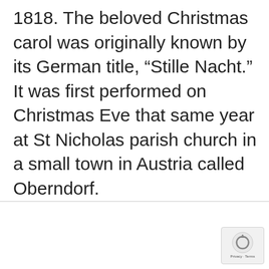1818. The beloved Christmas carol was originally known by its German title, “Stille Nacht.” It was first performed on Christmas Eve that same year at St Nicholas parish church in a small town in Austria called Oberndorf.
[Figure (other): reCAPTCHA badge with circular arrow icon and Privacy + Terms text]